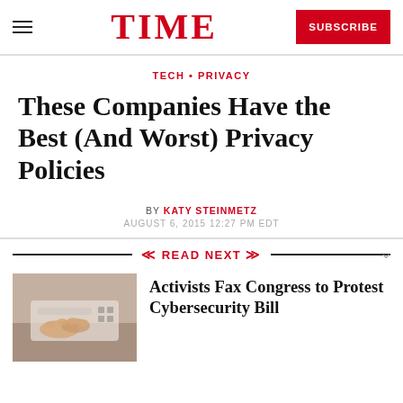TIME
TECH • PRIVACY
These Companies Have the Best (And Worst) Privacy Policies
BY KATY STEINMETZ
AUGUST 6, 2015 12:27 PM EDT
READ NEXT
[Figure (photo): Person using a fax machine, hands visible on keyboard/buttons]
Activists Fax Congress to Protest Cybersecurity Bill